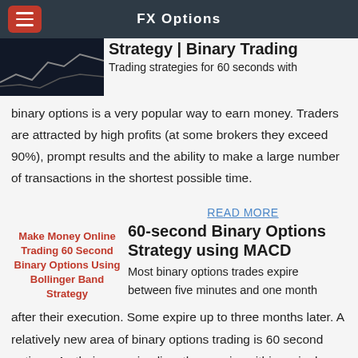FX Options
Strategy | Binary Trading
Trading strategies for 60 seconds with binary options is a very popular way to earn money. Traders are attracted by high profits (at some brokers they exceed 90%), prompt results and the ability to make a large number of transactions in the shortest possible time.
READ MORE
Make Money Online Trading 60 Second Binary Options Using Bollinger Band Strategy
60-second Binary Options Strategy using MACD
Most binary options trades expire between five minutes and one month after their execution. Some expire up to three months later. A relatively new area of binary options trading is 60 second options. As their name implies, they expire within a single minute. As exciting as this might seem, it also poses a few notable risks.